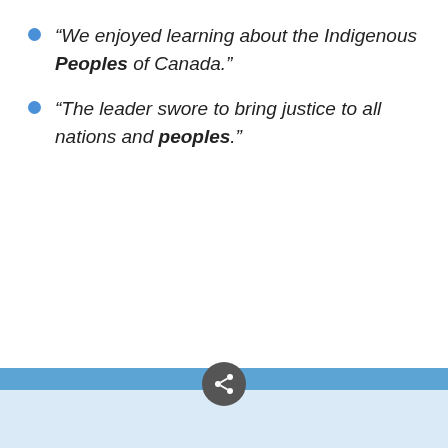“We enjoyed learning about the Indigenous Peoples of Canada.”
“The leader swore to bring justice to all nations and peoples.”